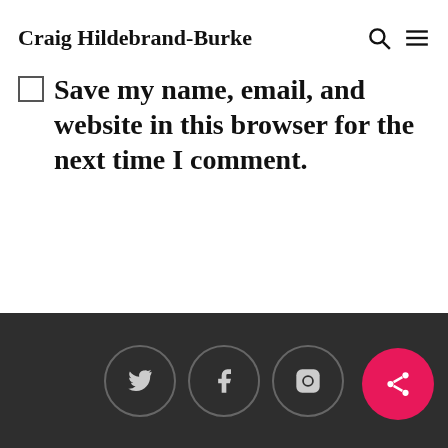Craig Hildebrand-Burke
Save my name, email, and website in this browser for the next time I comment.
Submit Comment
Social links: Twitter, Facebook, Instagram, Share